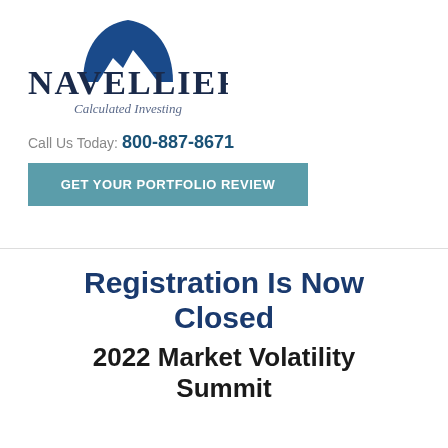[Figure (logo): Navellier & Associates logo with mountain/arch graphic above the word NAVELLIER and italic tagline 'Calculated Investing']
Call Us Today: 800-887-8671
GET YOUR PORTFOLIO REVIEW
Registration Is Now Closed 2022 Market Volatility Summit